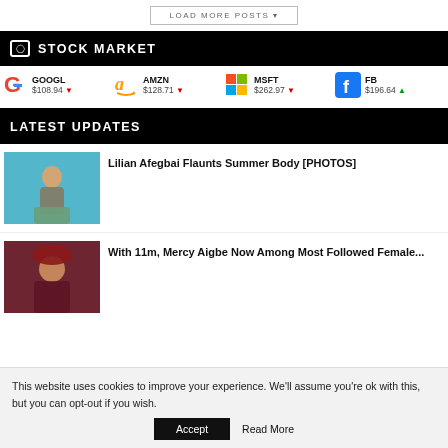LOAD MORE POSTS
STOCK MARKET
GOOGL $108.94 ↓  AMZN $128.71 ↓  MSFT $262.97 ↓  FB $196.64 ↑
LATEST UPDATES
[Figure (photo): Woman in swimsuit by a pool]
Lilian Afegbai Flaunts Summer Body [PHOTOS]
[Figure (photo): Woman in portrait pose with hat]
With 11m, Mercy Aigbe Now Among Most Followed Female...
This website uses cookies to improve your experience. We'll assume you're ok with this, but you can opt-out if you wish.
Accept  Read More